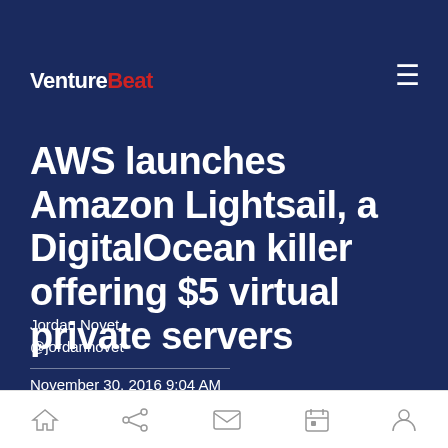VentureBeat
AWS launches Amazon Lightsail, a DigitalOcean killer offering $5 virtual private servers
Jordan Novet
@jordannovet
November 30, 2016 9:04 AM
[Figure (other): Mobile navigation bar with home, share, mail, calendar, and profile icons]